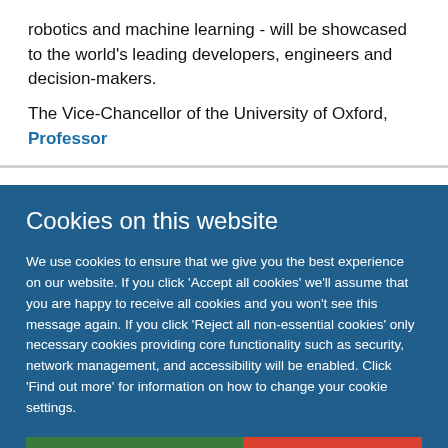robotics and machine learning - will be showcased to the world's leading developers, engineers and decision-makers.
The Vice-Chancellor of the University of Oxford, Professor
Cookies on this website
We use cookies to ensure that we give you the best experience on our website. If you click 'Accept all cookies' we'll assume that you are happy to receive all cookies and you won't see this message again. If you click 'Reject all non-essential cookies' only necessary cookies providing core functionality such as security, network management, and accessibility will be enabled. Click 'Find out more' for information on how to change your cookie settings.
Accept all cookies
Reject all non-essential cookies
Find out more